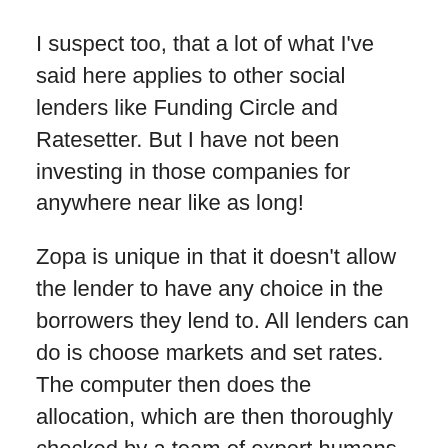I suspect too, that a lot of what I've said here applies to other social lenders like Funding Circle and Ratesetter. But I have not been investing in those companies for anywhere near like as long!
Zopa is unique in that it doesn't allow the lender to have any choice in the borrowers they lend to. All lenders can do is choose markets and set rates. The computer then does the allocation, which are then thoroughly checked by a team of expert humans.
So in my view Zopa is the purer and more stable system from a control engineering point of view.
It also requires the least intervention from the lender to run successfully, which probably explains why it is the largest peer-to-peer lender.